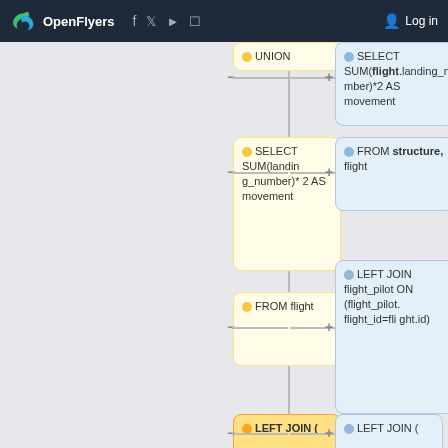OpenFlyers — Log in
[Figure (flowchart): SQL query builder flowchart showing nodes: UNION, SELECT SUM(flight.landing_number)*2 AS movement, SELECT SUM(landing_number)*2 AS movement, FROM structure flight, FROM flight, LEFT JOIN flight_pilot ON (flight_pilot.flight_id=flight.id), LEFT JOIN (, LEFT JOIN (]
UNION
SELECT SUM(flight.landing_number)*2 AS movement
SELECT SUM(landing_number)*2 AS movement
FROM structure, flight
FROM flight
LEFT JOIN flight_pilot ON (flight_pilot.flight_id=flight.id)
LEFT JOIN (
LEFT JOIN (